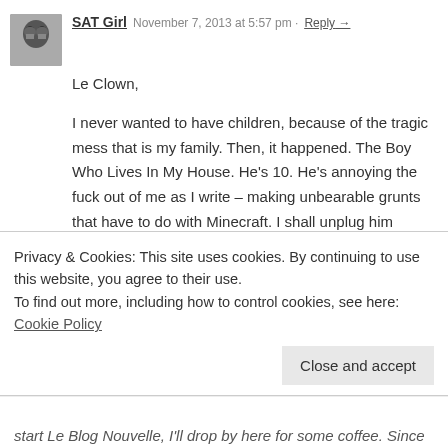[Figure (photo): Black and white avatar photo of a person wearing boxing gloves near their face]
SAT Girl  November 7, 2013 at 5:57 pm  ·  Reply →
Le Clown,

I never wanted to have children, because of the tragic mess that is my family. Then, it happened. The Boy Who Lives In My House. He's 10. He's annoying the fuck out of me as I write – making unbearable grunts that have to do with Minecraft. I shall unplug him shortly.

Although I am not my mother, who screamed and beat us constantly because she was a widow with 6 children, I'm still making a hot mess of motherhood. I am devoted, hilarious and fun, and at the same time, scream and lose it with my kid frequently. He is brilliant and difficult and is 6 children in one. I fear constantly that I am damaging him, when really all I want is to expose him to enough dysfunction to make
Privacy & Cookies: This site uses cookies. By continuing to use this website, you agree to their use.
To find out more, including how to control cookies, see here: Cookie Policy
Close and accept
start Le Blog Nouvelle, I'll drop by here for some coffee. Since